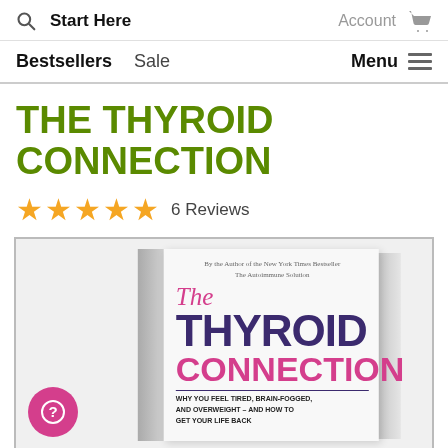🔍 Start Here  Account 🛒
Bestsellers  Sale  Menu ≡
THE THYROID CONNECTION
★★★★★ 6 Reviews
[Figure (photo): Book cover of 'The Thyroid Connection' showing the physical book with title, subtitle 'Why You Feel Tired, Brain-Fogged, and Overweight — and How to Get Your Life Back', byline 'By the Author of the New York Times Bestseller The Autoimmune Solution']